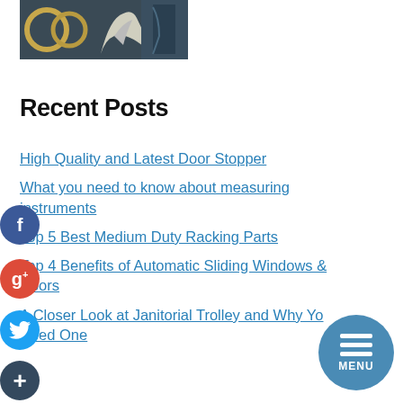[Figure (photo): Partial photo of decorative objects including what appears to be metallic rings and an ornate white figurine against a dark background]
Recent Posts
High Quality and Latest Door Stopper
What you need to know about measuring instruments
Top 5 Best Medium Duty Racking Parts
Top 4 Benefits of Automatic Sliding Windows & Doors
A Closer Look at Janitorial Trolley and Why You Need One